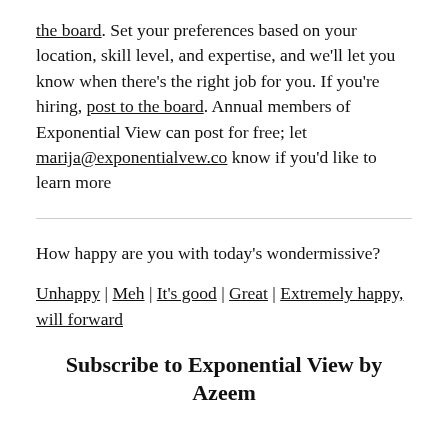the board. Set your preferences based on your location, skill level, and expertise, and we'll let you know when there's the right job for you. If you're hiring, post to the board. Annual members of Exponential View can post for free; let marija@exponentialvew.co know if you'd like to learn more
How happy are you with today's wondermissive?
Unhappy | Meh | It's good | Great | Extremely happy, will forward
Subscribe to Exponential View by Azeem Azhar